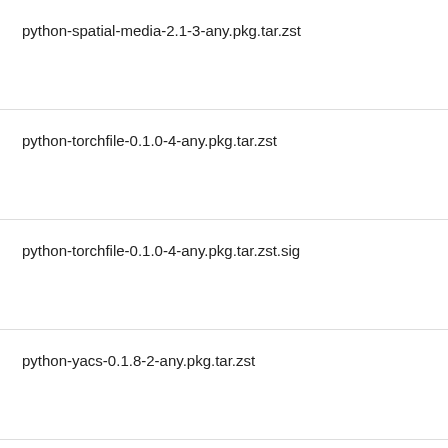| Name | Size |  |
| --- | --- | --- |
| python-spatial-media-2.1-3-any.pkg.tar.zst | 35456 | 1... |
| python-torchfile-0.1.0-4-any.pkg.tar.zst | 12520 | 1... |
| python-torchfile-0.1.0-4-any.pkg.tar.zst.sig | 566 | 1... |
| python-yacs-0.1.8-2-any.pkg.tar.zst | 23939 | 1... |